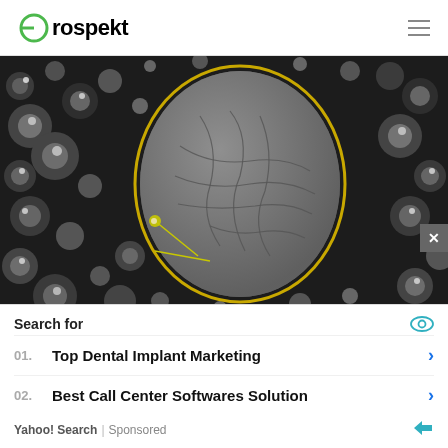Prospekt
[Figure (photo): Black and white macro photograph of bubbles or spheres with a magnifying glass or lens showing a detailed view of a cracked, textured surface in the center.]
CHEMISTRY
Researchers Uncover How To
[Figure (infographic): Advertisement overlay: Search for panel with eye icon, listing 01. Top Dental Implant Marketing and 02. Best Call Center Softwares Solution, with Yahoo! Search | Sponsored footer.]